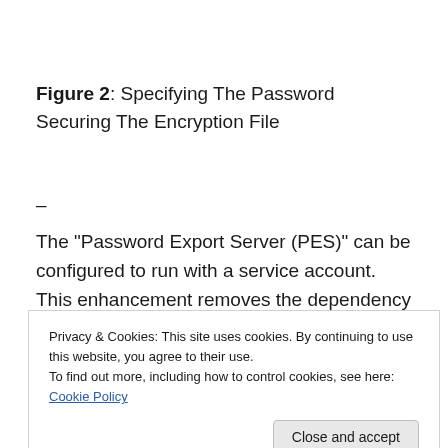Figure 2: Specifying The Password Securing The Encryption File
–
The "Password Export Server (PES)" can be configured to run with a service account. This enhancement removes the dependency on the "pre-Windows 2000 compatible access" group that PREVIOUS should contain the well-
Privacy & Cookies: This site uses cookies. By continuing to use this website, you agree to their use.
To find out more, including how to control cookies, see here: Cookie Policy
account.